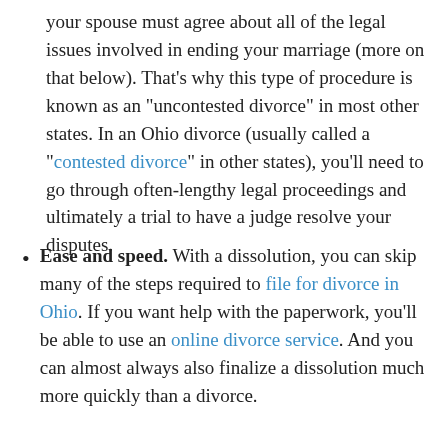your spouse must agree about all of the legal issues involved in ending your marriage (more on that below). That's why this type of procedure is known as an "uncontested divorce" in most other states. In an Ohio divorce (usually called a "contested divorce" in other states), you'll need to go through often-lengthy legal proceedings and ultimately a trial to have a judge resolve your disputes.
Ease and speed. With a dissolution, you can skip many of the steps required to file for divorce in Ohio. If you want help with the paperwork, you'll be able to use an online divorce service. And you can almost always also finalize a dissolution much more quickly than a divorce.